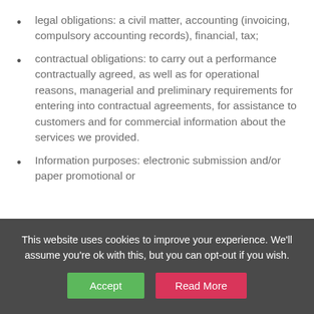legal obligations: a civil matter, accounting (invoicing, compulsory accounting records), financial, tax;
contractual obligations: to carry out a performance contractually agreed, as well as for operational reasons, managerial and preliminary requirements for entering into contractual agreements, for assistance to customers and for commercial information about the services we provided.
Information purposes: electronic submission and/or paper promotional or
This website uses cookies to improve your experience. We'll assume you're ok with this, but you can opt-out if you wish.
Accept | Read More